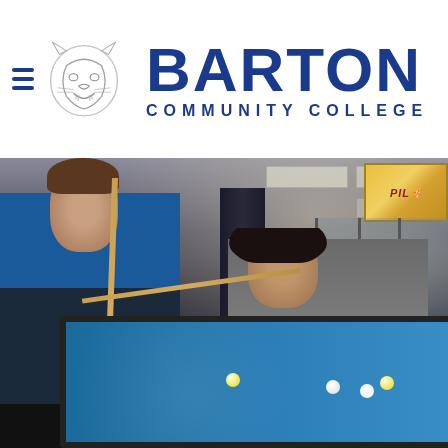[Figure (logo): Barton Community College logo with cougar mascot and three horizontal blue lines (hamburger menu icon) to the left of the cougar, and 'BARTON COMMUNITY COLLEGE' text in bold blue to the right]
[Figure (photo): Two students playing pool/billiards in a campus recreation room. The student on the left is standing upright in a blue Barton College shirt holding a pool cue vertically. The student on the right is leaning over the blue felt pool table in a gray sweatshirt, lining up a shot. A colorful pizza-themed hanging lamp is visible in the upper right background, along with glass windows and ceiling tile lighting.]